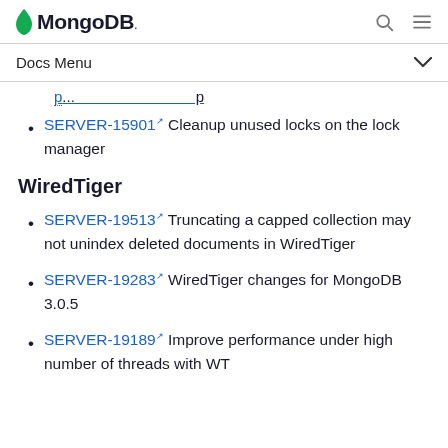MongoDB
Docs Menu
SERVER-15901 Cleanup unused locks on the lock manager
WiredTiger
SERVER-19513 Truncating a capped collection may not unindex deleted documents in WiredTiger
SERVER-19283 WiredTiger changes for MongoDB 3.0.5
SERVER-19189 Improve performance under high number of threads with WT